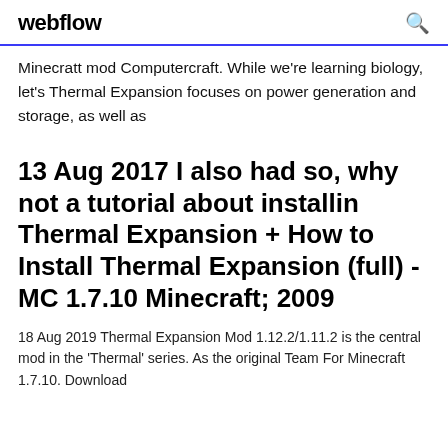webflow
Minecratt mod Computercraft. While we're learning biology, let's Thermal Expansion focuses on power generation and storage, as well as
13 Aug 2017 I also had so, why not a tutorial about installin Thermal Expansion + How to Install Thermal Expansion (full) - MC 1.7.10 Minecraft; 2009
18 Aug 2019 Thermal Expansion Mod 1.12.2/1.11.2 is the central mod in the 'Thermal' series. As the original Team For Minecraft 1.7.10. Download